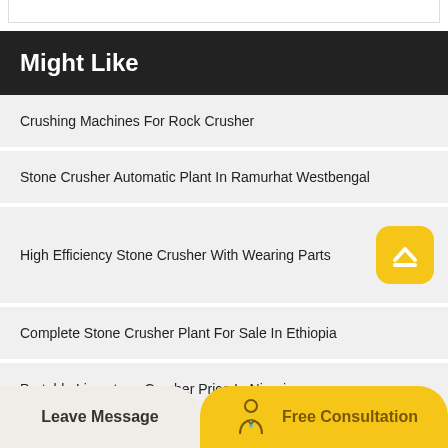Might Like
Crushing Machines For Rock Crusher
Stone Crusher Automatic Plant In Ramurhat Westbengal
High Efficiency Stone Crusher With Wearing Parts
Complete Stone Crusher Plant For Sale In Ethiopia
Portable Limestone Crusher Price In Nigeria
Limestone Crusher Belt Conveyers
Leave Message
Free Consultation